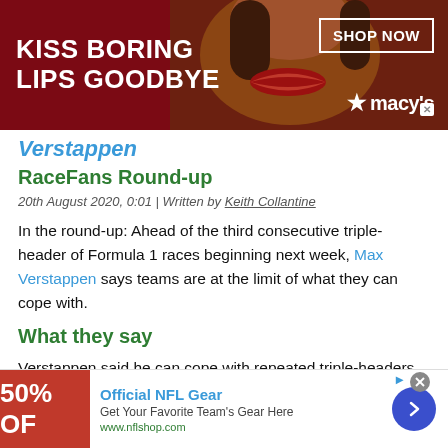[Figure (illustration): Advertisement banner: red background with 'KISS BORING LIPS GOODBYE' text in white, a woman's face with red lips in the center, 'SHOP NOW' button and Macy's logo on the right.]
Verstappen
RaceFans Round-up
20th August 2020, 0:01 | Written by Keith Collantine
In the round-up: Ahead of the third consecutive triple-header of Formula 1 races beginning next week, Max Verstappen says teams are at the limit of what they can cope with.
What they say
Verstappen said he can cope with repeated triple-headers for now – another is expected at the end of the season:
[Figure (illustration): Advertisement: NFL Shop banner with red 50% OFF image, 'Official NFL Gear' title in blue, 'Get Your Favorite Team's Gear Here' subtitle, 'www.nflshop.com' URL, and a blue circular arrow button.]